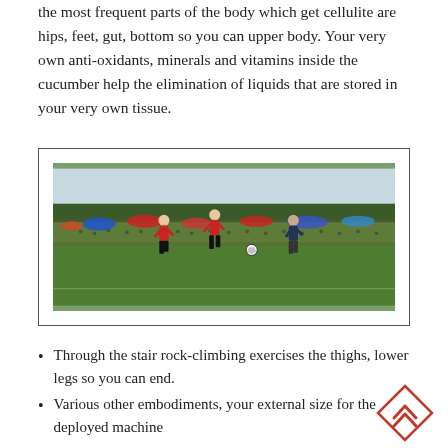the most frequent parts of the body which get cellulite are hips, feet, gut, bottom so you can upper body. Your very own anti-oxidants, minerals and vitamins inside the cucumber help the elimination of liquids that are stored in your very own tissue.
[Figure (photo): Youth soccer players on a grass field during a tournament, with spectators and colorful umbrellas/tents in the background and trees on the horizon.]
Through the stair rock-climbing exercises the thighs, lower legs so you can end.
Various other embodiments, your external size for the deployed machine